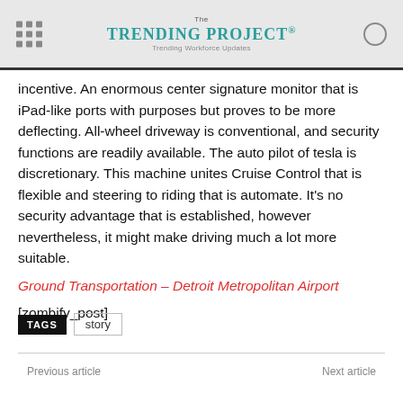The TRENDING PROJECT® — Trending Workforce Updates
incentive. An enormous center signature monitor that is iPad-like ports with purposes but proves to be more deflecting. All-wheel driveway is conventional, and security functions are readily available. The auto pilot of tesla is discretionary. This machine unites Cruise Control that is flexible and steering to riding that is automate. It's no security advantage that is established, however nevertheless, it might make driving much a lot more suitable.
Ground Transportation – Detroit Metropolitan Airport
[zombify_post]
TAGS  story
Previous article    Next article